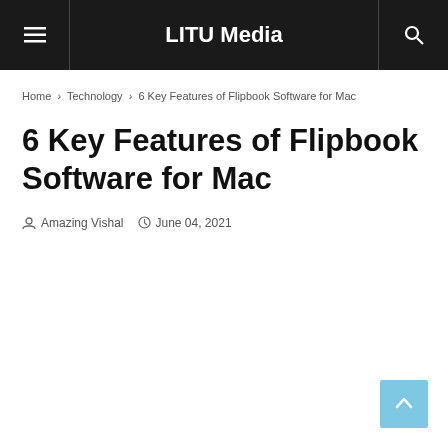LITU Media
Home › Technology › 6 Key Features of Flipbook Software for Mac
6 Key Features of Flipbook Software for Mac
Amazing Vishal   June 04, 2021